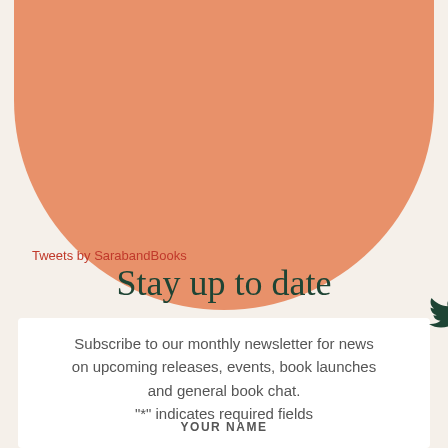[Figure (illustration): Large orange semicircle decorative background shape with Twitter bird icon in dark green centered on it]
Tweets by SarabandBooks
Stay up to date
Subscribe to our monthly newsletter for news on upcoming releases, events, book launches and general book chat.
"*" indicates required fields
YOUR NAME